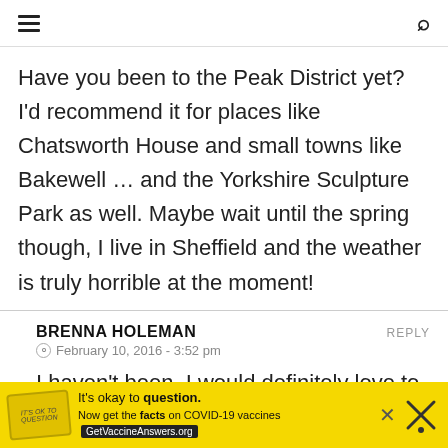☰ [menu]   🔍 [search]
Have you been to the Peak District yet? I'd recommend it for places like Chatsworth House and small towns like Bakewell … and the Yorkshire Sculpture Park as well. Maybe wait until the spring though, I live in Sheffield and the weather is truly horrible at the moment!
BRENNA HOLEMAN   REPLY
⊙ February 10, 2016 - 3:52 pm
I haven't been, I would definitely love to go!
I've been trying to check a lot of exploring ...
[Figure (screenshot): Yellow advertisement banner: 'It's okay to question. Now get the facts on COVID-19 vaccines. GetVaccineAnswers.org' with an X close button and a decorative icon on the right.]